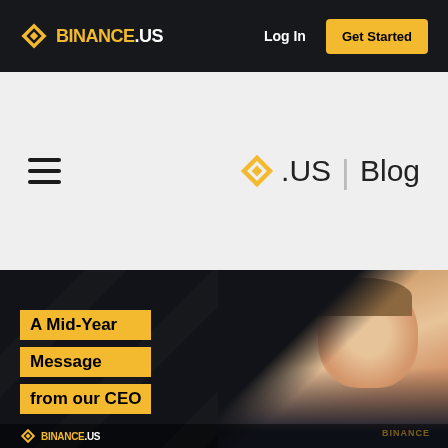BINANCE.US — Log In | Get Started
[Figure (screenshot): Binance.US blog page header showing logo, navigation with Log In and Get Started button, hamburger menu, and .US Blog heading]
[Figure (photo): Dark banner image with CEO photo on right, yellow highlighted text labels reading 'A Mid-Year Message from our CEO', Binance.US logo at bottom left]